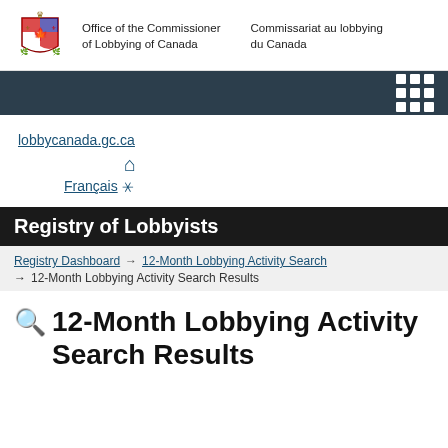[Figure (logo): Canada coat of arms / Government of Canada logo with text: Office of the Commissioner of Lobbying of Canada | Commissariat au lobbying du Canada]
[Figure (screenshot): Dark navy navigation bar with a grid/menu icon on the right]
lobbycanada.gc.ca
🏠 (home icon)
Français 🌐
Registry of Lobbyists
Registry Dashboard → 12-Month Lobbying Activity Search → 12-Month Lobbying Activity Search Results
🔍 12-Month Lobbying Activity Search Results